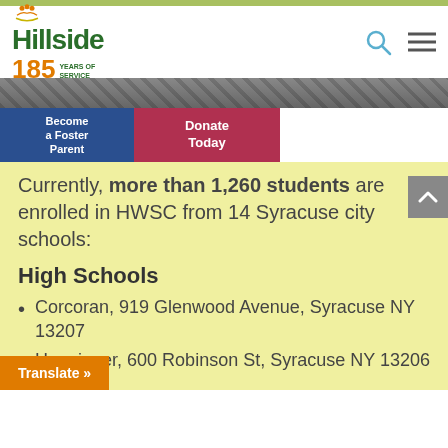[Figure (logo): Hillside 185 Years of Service logo with green text and orange number]
[Figure (photo): Gray hero banner image strip]
Become a Foster Parent
Donate Today
Currently, more than 1,260 students are enrolled in HWSC from 14 Syracuse city schools:
High Schools
Corcoran, 919 Glenwood Avenue, Syracuse NY 13207
Henninger, 600 Robinson St, Syracuse NY 13206
Translate »